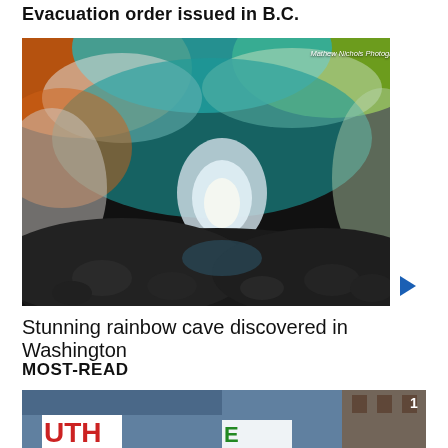Evacuation order issued in B.C.
[Figure (photo): Interior of a colorful rainbow ice cave with vibrant teal, orange, green hues on the ceiling and rocky dark floor, tunnel leading to light. Credit: Mathew Nichols Photography]
Stunning rainbow cave discovered in Washington
MOST-READ
[Figure (photo): Street scene with protest signs partially visible, showing letters UTH in red on white signs, blue sky and building in background]